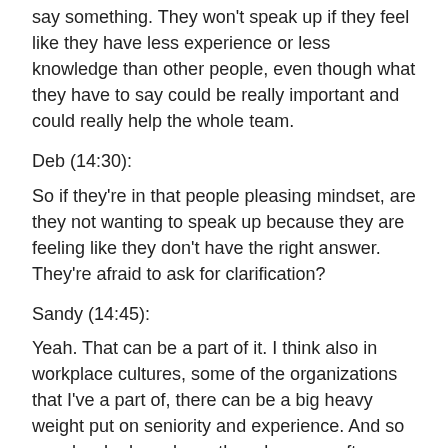say something. They won't speak up if they feel like they have less experience or less knowledge than other people, even though what they have to say could be really important and could really help the whole team.
Deb (14:30):
So if they're in that people pleasing mindset, are they not wanting to speak up because they are feeling like they don't have the right answer. They're afraid to ask for clarification?
Sandy (14:45):
Yeah. That can be a part of it. I think also in workplace cultures, some of the organizations that I've a part of, there can be a big heavy weight put on seniority and experience. And so people who have been there long, we often hear that even when I used to do onboarding